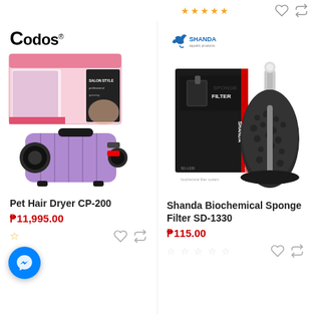[Figure (screenshot): Product listing page showing two pet/aquarium products side by side]
[Figure (photo): Codos Pet Hair Dryer CP-200 product image showing pink box packaging and purple/lavender hair dryer unit]
Pet Hair Dryer CP-200
₱11,995.00
[Figure (logo): Shanda brand logo with dolphin graphic]
[Figure (photo): Shanda Biochemical Sponge Filter SD-1330 product image showing black box and sponge filter unit]
Shanda Biochemical Sponge Filter SD-1330
₱115.00